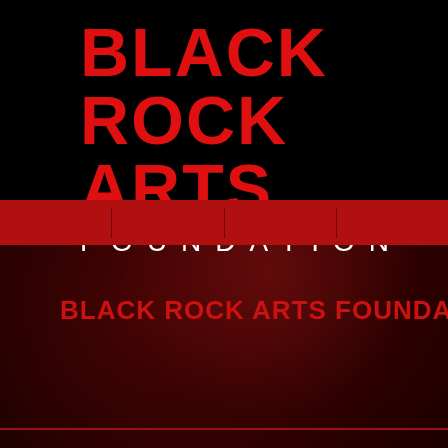[Figure (logo): Black Rock Arts Foundation logo on black background with red large text 'BLACK ROCK ARTS' and white spaced text 'FOUNDATION']
BLACK ROCK ARTS FOUNDATION NEWSLETTER